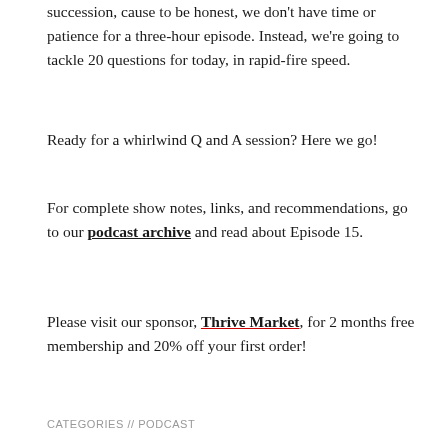succession, cause to be honest, we don't have time or patience for a three-hour episode. Instead, we're going to tackle 20 questions for today, in rapid-fire speed.
Ready for a whirlwind Q and A session? Here we go!
For complete show notes, links, and recommendations, go to our podcast archive and read about Episode 15.
Please visit our sponsor, Thrive Market, for 2 months free membership and 20% off your first order!
CATEGORIES // PODCAST